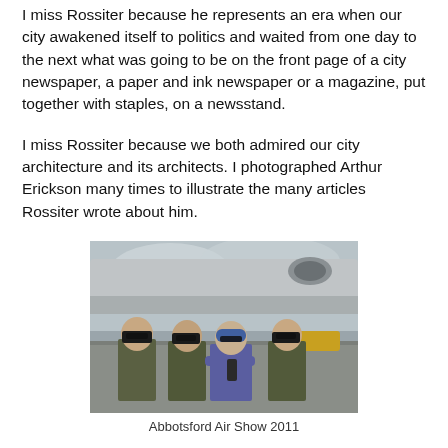I miss Rossiter because he represents an era when our city awakened itself to politics and waited from one day to the next what was going to be on the front page of a city newspaper, a paper and ink newspaper or a magazine, put together with staples, on a newsstand.
I miss Rossiter because we both admired our city architecture and its architects. I photographed Arthur Erickson many times to illustrate the many articles Rossiter wrote about him.
[Figure (photo): Four people standing in front of a large military aircraft at an air show. Three are wearing olive green military flight suits and sunglasses. One person in the center is wearing a blue cap and purple jacket with arms crossed.]
Abbotsford Air Show 2011